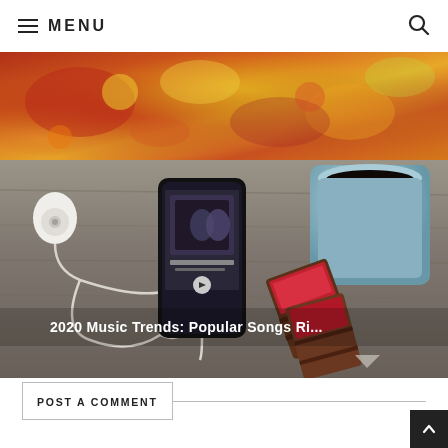☰ MENU
[Figure (photo): Food photo showing colorful dishes with vegetables, seafood, and citrus from above]
[Figure (photo): Music streaming scene with smartphone playing music, white earbuds, blue coffee mug, and chocolate bars on wooden table. Text overlay reads: 2020 Music Trends: Popular Songs Ri...]
POST A COMMENT